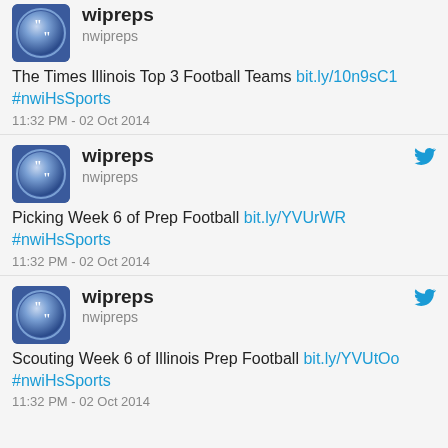[Figure (screenshot): Tweet 1: wipreps account avatar - circular icon with blue gradient and quotation mark symbol]
wipreps
@nwipreps
The Times Illinois Top 3 Football Teams bit.ly/10n9sC1 #nwiHsSports
11:32 PM - 02 Oct 2014
[Figure (screenshot): Tweet 2: wipreps account avatar - circular icon with blue gradient and quotation mark symbol]
wipreps
@nwipreps
Picking Week 6 of Prep Football bit.ly/YVUrWR #nwiHsSports
11:32 PM - 02 Oct 2014
[Figure (screenshot): Tweet 3: wipreps account avatar - circular icon with blue gradient and quotation mark symbol]
wipreps
@nwipreps
Scouting Week 6 of Illinois Prep Football bit.ly/YVUtOo #nwiHsSports
11:32 PM - 02 Oct 2014